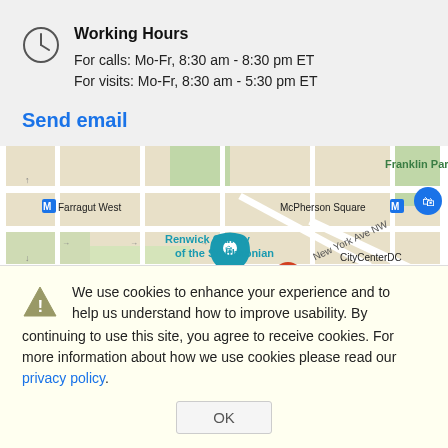Working Hours
For calls: Mo-Fr, 8:30 am - 8:30 pm ET
For visits: Mo-Fr, 8:30 am - 5:30 pm ET
Send email
[Figure (map): Google Map showing area around McPherson Square, Renwick Gallery of the Smithsonian, Franklin Park, CityCenterDC, Farragut West, Metro Center, New York Ave NW, with a red location pin marker.]
We use cookies to enhance your experience and to help us understand how to improve usability. By continuing to use this site, you agree to receive cookies. For more information about how we use cookies please read our privacy policy.